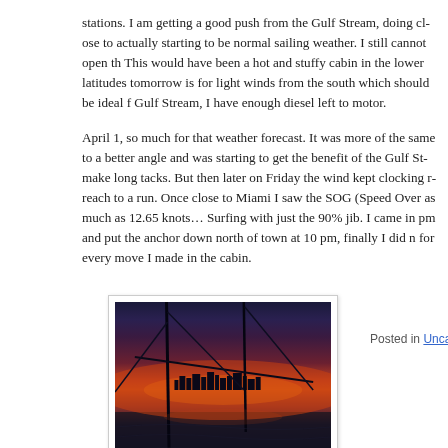stations. I am getting a good push from the Gulf Stream, doing close to actually starting to be normal sailing weather. I still cannot open the This would have been a hot and stuffy cabin in the lower latitudes tomorrow is for light winds from the south which should be ideal f Gulf Stream, I have enough diesel left to motor.
April 1, so much for that weather forecast. It was more of the same to a better angle and was starting to get the benefit of the Gulf Stream make long tacks. But then later on Friday the wind kept clocking reach to a run. Once close to Miami I saw the SOG (Speed Over as much as 12.65 knots... Surfing with just the 90% jib. I came in pm and put the anchor down north of town at 10 pm, finally I did for every move I made in the cabin.
[Figure (photo): Nighttime photo of Ft. Lauderdale skyline taken from a sailboat, showing dark water, rigging silhouettes, and a vivid orange-red sunset on the horizon.]
Ft. Lauderdale skyline
Posted in Uncategorized